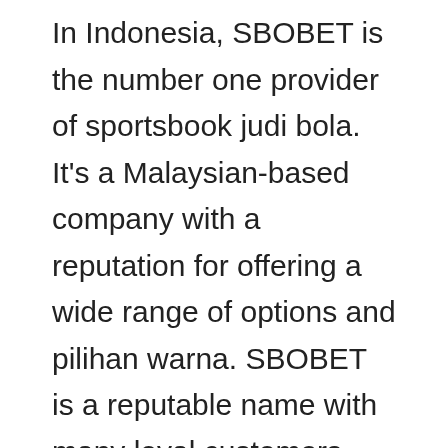In Indonesia, SBOBET is the number one provider of sportsbook judi bola. It's a Malaysian-based company with a reputation for offering a wide range of options and pilihan warna. SBOBET is a reputable name with many loyal customers. Moreover, SBOBET is licensed in Malaysia and offers the same level of customer support as its more well-known competitors. The sportsbook is available in several languages, including English.
There are many sportsbook sites in Indonesia, but SBOBET is one of the most popular. Its a great place for players from all over the world to try their luck. In addition to providing live